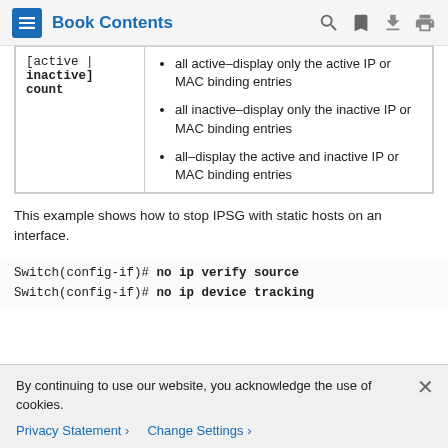Book Contents
|  |  |
| --- | --- |
| [active | inactive] count | all active–display only the active IP or MAC binding entries
all inactive–display only the inactive IP or MAC binding entries
all–display the active and inactive IP or MAC binding entries |
This example shows how to stop IPSG with static hosts on an interface.
Switch(config-if)# no ip verify source
Switch(config-if)# no ip device tracking
By continuing to use our website, you acknowledge the use of cookies.
Privacy Statement > Change Settings >